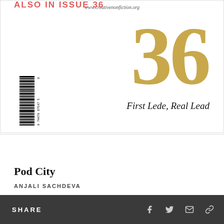www.creativenonfiction.org
[Figure (other): Magazine cover for Creative Nonfiction Issue 36 showing large gold number '36' with subtitle 'First Lede, Real Lead' and a barcode on the left]
ALSO IN ISSUE 36
Pod City
ANJALI SACHDEVA
SHARE